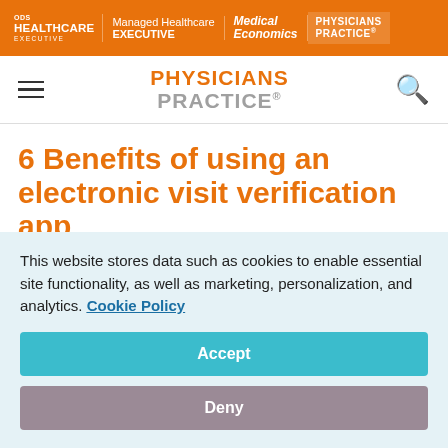HEALTHCARE EXECUTIVE | Managed Healthcare EXECUTIVE | Medical Economics | PHYSICIANS PRACTICE
PHYSICIANS PRACTICE
6 Benefits of using an electronic visit verification app
December 3, 2021
Khalid Al-Maskari
This website stores data such as cookies to enable essential site functionality, as well as marketing, personalization, and analytics. Cookie Policy
Accept
Deny